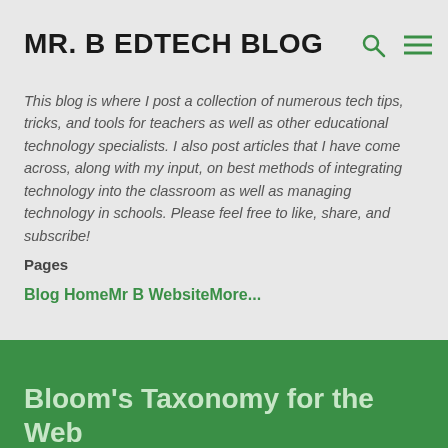MR. B EDTECH BLOG
This blog is where I post a collection of numerous tech tips, tricks, and tools for teachers as well as other educational technology specialists. I also post articles that I have come across, along with my input, on best methods of integrating technology into the classroom as well as managing technology in schools. Please feel free to like, share, and subscribe!
Pages
Blog Home
Mr B Website
More...
Bloom's Taxonomy for the Web